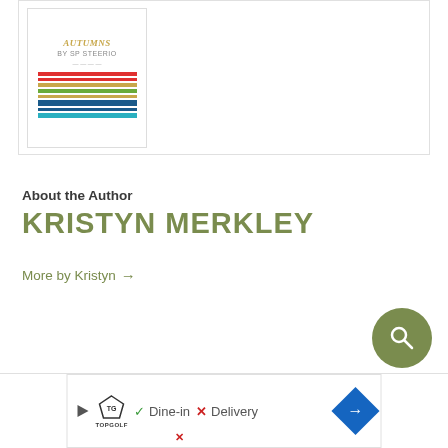[Figure (illustration): A framed printable document with colorful horizontal stripes and decorative text at top]
About the Author
KRISTYN MERKLEY
More by Kristyn →
[Figure (other): Search button — circular olive/green button with magnifying glass icon]
Dine-in  X  Delivery
[Figure (logo): TopGolf logo advertisement bar with Dine-in and Delivery options and navigation arrow button]